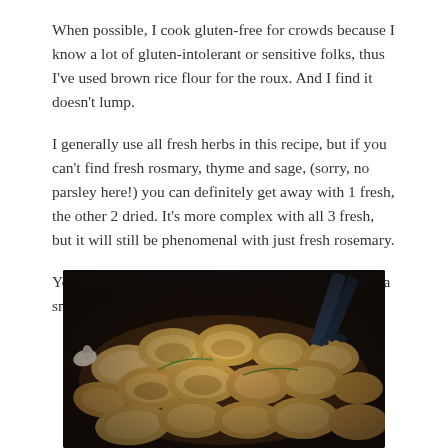When possible, I cook gluten-free for crowds because I know a lot of gluten-intolerant or sensitive folks, thus I've used brown rice flour for the roux. And I find it doesn't lump.
I generally use all fresh herbs in this recipe, but if you can't find fresh rosmary, thyme and sage, (sorry, no parsley here!) you can definitely get away with 1 fresh, the other 2 dried. It's more complex with all 3 fresh, but it will still be phenomenal with just fresh rosemary.
You'll need two pans here. I tend to make the roux in a small pan and do the rest in a huge one.
[Figure (photo): A dark pan filled with sautéed sliced mushrooms with herbs, shot from above. A pair of dark blue/black tongs is visible in the upper right of the pan.]